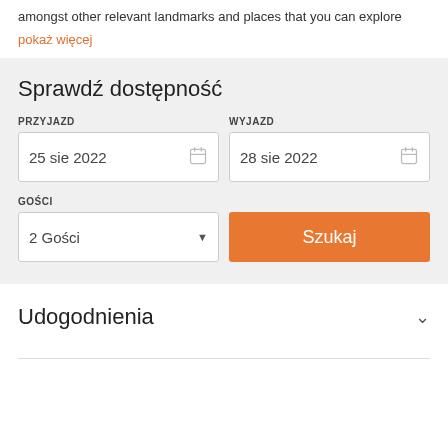amongst other relevant landmarks and places that you can explore
pokaż więcej
Sprawdź dostępność
PRZYJAZD
25 sie 2022
WYJAZD
28 sie 2022
GOŚCI
2 Gości
Szukaj
Udogodnienia